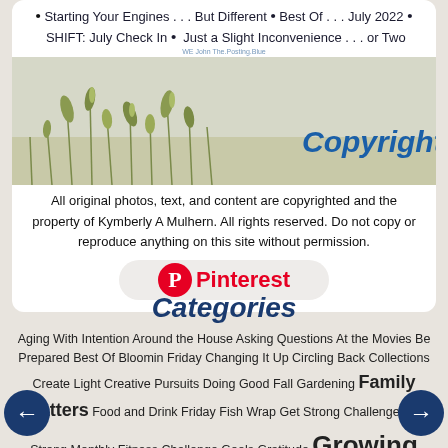Starting Your Engines . . . But Different • Best Of . . . July 2022 • SHIFT: July Check In • Just a Slight Inconvenience . . . or Two
[Figure (photo): Meadow photo with grass and wildflowers, with 'Copyright' text overlay in bold blue italic]
All original photos, text, and content are copyrighted and the property of Kymberly A Mulhern. All rights reserved. Do not copy or reproduce anything on this site without permission.
[Figure (logo): Pinterest button with red circle P logo and Pinterest text in red]
Categories
Aging With Intention Around the House Asking Questions At the Movies Be Prepared Best Of Bloomin Friday Changing It Up Circling Back Collections Create Light Creative Pursuits Doing Good Fall Gardening Family Matters Food and Drink Friday Fish Wrap Get Strong Challenge Get Strong Monthly Fitness Challenge Goals Gratitude Growing Things Guest Blogger Happiness Holidays